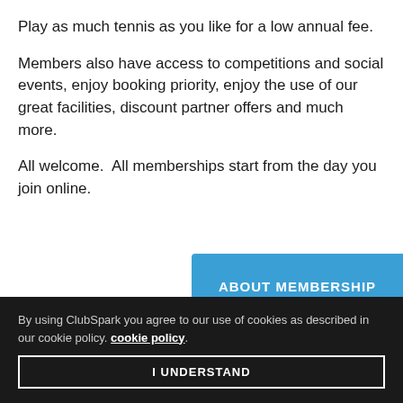Play as much tennis as you like for a low annual fee.
Members also have access to competitions and social events, enjoy booking priority, enjoy the use of our great facilities, discount partner offers and much more.
All welcome.  All memberships start from the day you join online.
ABOUT MEMBERSHIP
By using ClubSpark you agree to our use of cookies as described in our cookie policy. cookie policy.
I UNDERSTAND